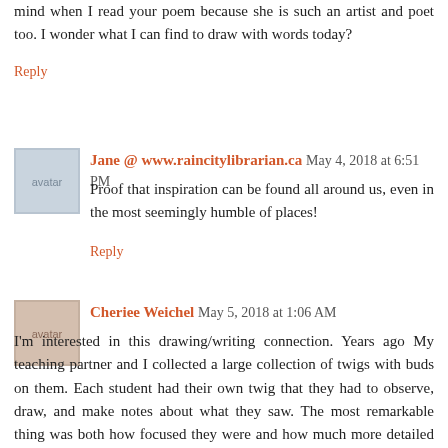mind when I read your poem because she is such an artist and poet too. I wonder what I can find to draw with words today?
Reply
Jane @ www.raincitylibrarian.ca  May 4, 2018 at 6:51 PM
Proof that inspiration can be found all around us, even in the most seemingly humble of places!
Reply
Cheriee Weichel  May 5, 2018 at 1:06 AM
I'm interested in this drawing/writing connection. Years ago My teaching partner and I collected a large collection of twigs with buds on them. Each student had their own twig that they had to observe, draw, and make notes about what they saw. The most remarkable thing was both how focused they were and how much more detailed these drawings became over time. They became acutely aware of the smallest change. I only wish now that we had written poetry to go with them. We never repeated this because many of those buds released pollen into the confined